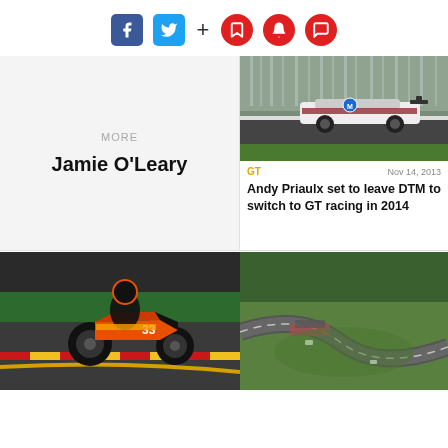Social media icons: Facebook, Twitter, + bookmark, notification, comment
[Figure (photo): Card showing MORE label and author name Jamie O'Leary on grey background]
[Figure (photo): Racing car (BMW DTM) on track, motion blur background]
GT   Nov 14, 2013
Andy Priaulx set to leave DTM to switch to GT racing in 2014
[Figure (photo): Motorcycle racer #33 on track at Valencia circuit]
[Figure (photo): Racing circuit overhead view with cars on track, green surroundings]